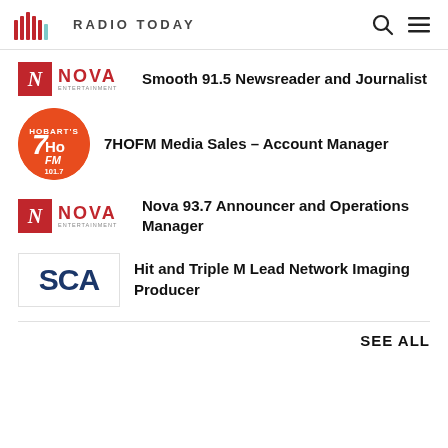RADIO TODAY
Smooth 91.5 Newsreader and Journalist
7HOFM Media Sales – Account Manager
Nova 93.7 Announcer and Operations Manager
Hit and Triple M Lead Network Imaging Producer
SEE ALL